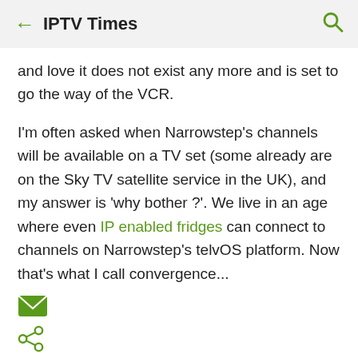IPTV Times
and love it does not exist any more and is set to go the way of the VCR.
I'm often asked when Narrowstep's channels will be available on a TV set (some already are on the Sky TV satellite service in the UK), and my answer is 'why bother ?'. We live in an age where even IP enabled fridges can connect to channels on Narrowstep's telvOS platform. Now that's what I call convergence...
[Figure (other): Green envelope/email icon]
[Figure (other): Green share icon]